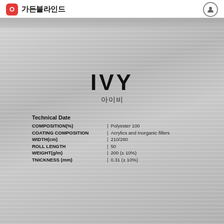가든블라인드
[Figure (photo): Close-up photo of IVY roller blind fabric texture with product label showing technical specifications. The fabric has a light gray woven texture with horizontal ribbing pattern.]
IVY
아이비
Technical Date
| Property |  | Value |
| --- | --- | --- |
| COMPOSITION(%) | | | Polyester 100 |
| COATING COMPOSITION | | | Acrylics and Inorganic fillers |
| WIDTH(cm) | | | 210/280 |
| ROLL LENGTH | | | 50 |
| WEIGHT(g/m) | | | 200 (± 10%) |
| TNICKNESS (mm) | | | 0.31 (± 10%) |